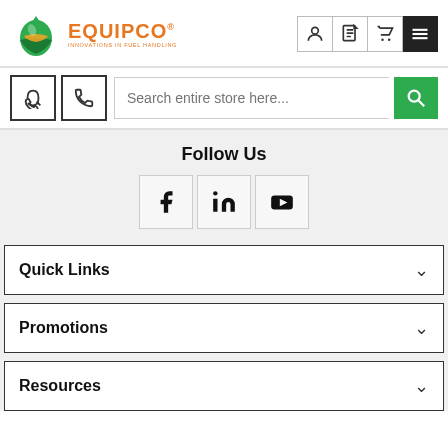[Figure (logo): Equipco logo with green droplet icon and orange text reading EQUIPCO, tagline INNOVATIONS IN FUEL HANDLING]
[Figure (infographic): Navigation icons: user account, document/quote, shopping cart, hamburger menu (dark background)]
[Figure (screenshot): Phone icon button and search bar with placeholder text 'Search entire store here...' and green search button]
Follow Us
[Figure (infographic): Social media icons in bordered boxes: Facebook (f), LinkedIn (in), YouTube (play button)]
Quick Links
Promotions
Resources